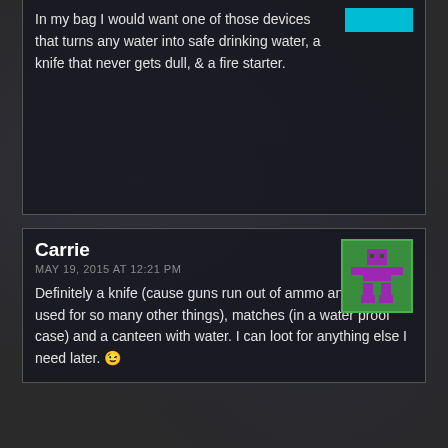In my bag I would want one of those devices that turns any water into safe drinking water, a knife that never gets dull, & a fire starter.
Carrie
MAY 19, 2015 AT 12:21 PM
Definitely a knife (cause guns run out of ammo and it can be used for so many other things), matches (in a water proof case) and a canteen with water. I can loot for anything else I need later. 😉
BoxyFrown (@missboxyfrown)
MAY 19, 2015 AT 12:34 PM
My Kindle, a solar charger, and a straight razor 😀
ms_hookjunkie